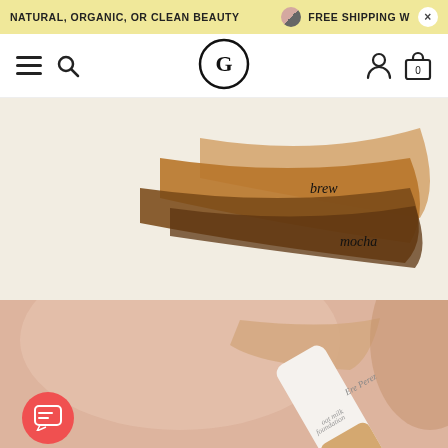NATURAL, ORGANIC, OR CLEAN BEAUTY   FREE SHIPPING W  ×
[Figure (screenshot): Navigation bar with hamburger menu, search icon, circular G logo in center, person icon and shopping bag icon with 0 badge on right]
[Figure (photo): Product swatches of foundation shades on beige background, labeled 'brew' and 'mocha' in script text]
[Figure (photo): Close-up of Ere Perez oat milk foundation tube on pink/nude background with a swatch applied]
ADD TO CART  |  €42,00